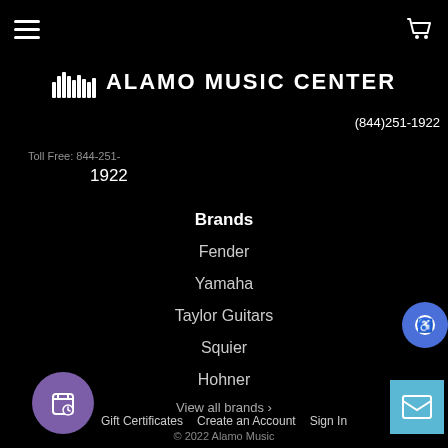Alamo Music Center navigation header with hamburger menu and cart icon
ALAMO MUSIC CENTER
(844)251-1922
Toll Free: 844-251-1922
Brands
Fender
Yamaha
Taylor Guitars
Squier
Hohner
View all brands ›
Gift Certificates   Create an Account   Sign In   © 2022 Alamo Music